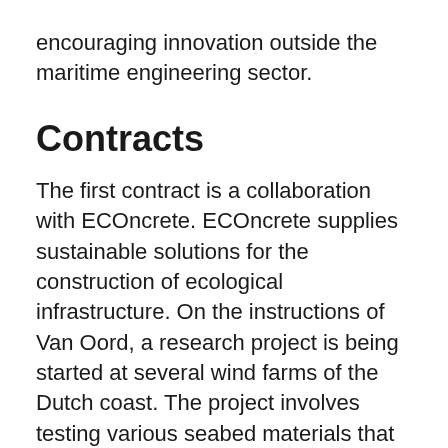encouraging innovation outside the maritime engineering sector.
Contracts
The first contract is a collaboration with ECOncrete. ECOncrete supplies sustainable solutions for the construction of ecological infrastructure. On the instructions of Van Oord, a research project is being started at several wind farms of the Dutch coast. The project involves testing various seabed materials that protect the foundations of offshore wind farms and boost the growth of oyster beds. The oyster beds will prevent the erosion of the seabed around